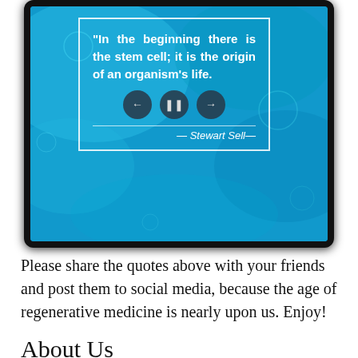[Figure (screenshot): Screenshot of a tablet/device showing a quote slideshow app with a blue aquatic background. The quote reads: "In the beginning there is the stem cell; it is the origin of an organism's life." attributed to Stewart Sell. Three control buttons (back, pause, forward) are shown below the quote.]
Please share the quotes above with your friends and post them to social media, because the age of regenerative medicine is nearly upon us. Enjoy!
About Us